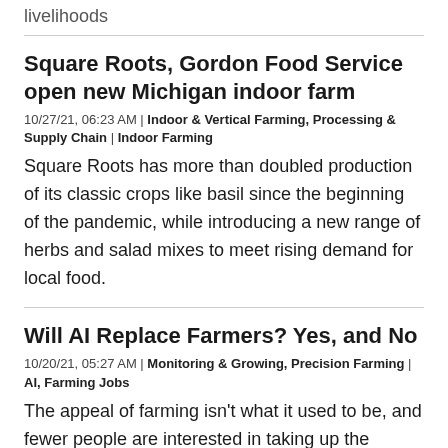livelihoods
Square Roots, Gordon Food Service open new Michigan indoor farm
10/27/21, 06:23 AM | Indoor & Vertical Farming, Processing & Supply Chain | Indoor Farming
Square Roots has more than doubled production of its classic crops like basil since the beginning of the pandemic, while introducing a new range of herbs and salad mixes to meet rising demand for local food.
Will AI Replace Farmers? Yes, and No
10/20/21, 05:27 AM | Monitoring & Growing, Precision Farming | AI, Farming Jobs
The appeal of farming isn't what it used to be, and fewer people are interested in taking up the profession. Thanks to technology and artificial